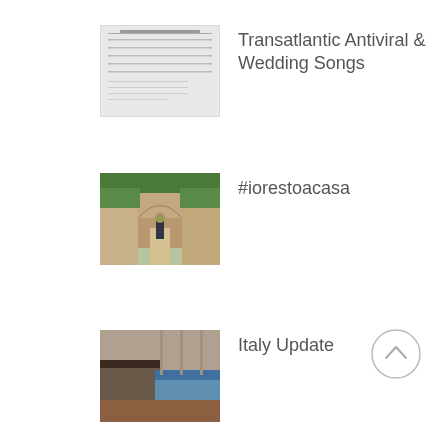[Figure (photo): Thumbnail showing sheet music/score document]
Transatlantic Antiviral & Wedding Songs
[Figure (photo): Thumbnail showing a garden path with an archway and a person walking through]
#iorestoacasa
[Figure (photo): Thumbnail showing an interior room with a piano or keyboard instrument]
Italy Update